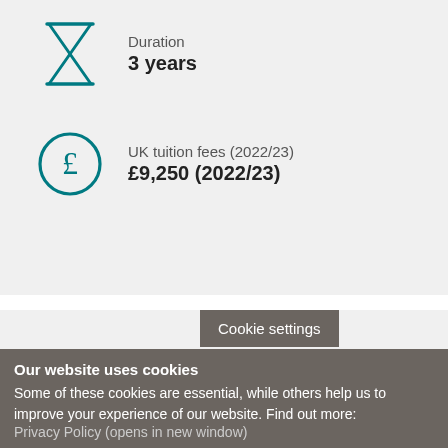[Figure (illustration): Hourglass icon in teal outline style]
Duration
3 years
[Figure (illustration): Pound sterling (£) circle icon in teal outline style]
UK tuition fees (2022/23)
£9,250 (2022/23)
[Figure (illustration): Calendar icon in teal outline style]
Programme starts
Septe…
Cookie settings
Our website uses cookies
Some of these cookies are essential, while others help us to improve your experience of our website. Find out more:
Privacy Policy (opens in new window)